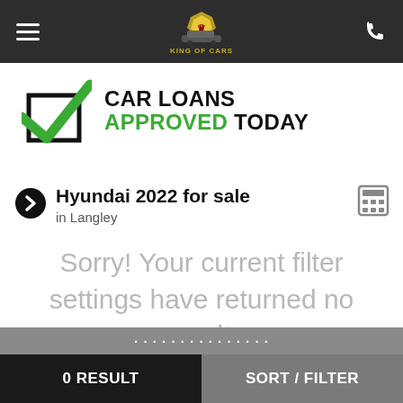[Figure (screenshot): King of Cars logo centered in dark navigation bar with hamburger menu on left and phone icon on right]
[Figure (infographic): Car Loans Approved Today banner with green checkmark graphic, bold text reading CAR LOANS APPROVED TODAY]
Hyundai 2022 for sale in Langley
Sorry! Your current filter settings have returned no result.
0 RESULT   SORT / FILTER